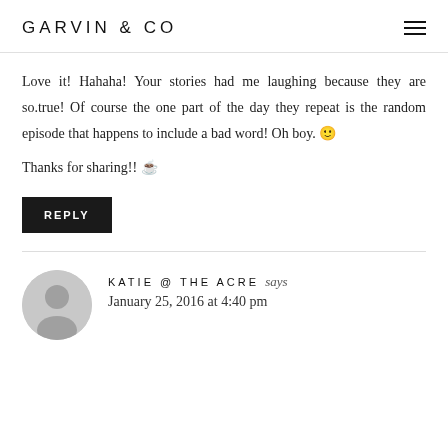GARVIN & CO
Love it! Hahaha! Your stories had me laughing because they are so.true! Of course the one part of the day they repeat is the random episode that happens to include a bad word! Oh boy. 🙂
Thanks for sharing!! ☕
REPLY
KATIE @ THE ACRE says
January 25, 2016 at 4:40 pm